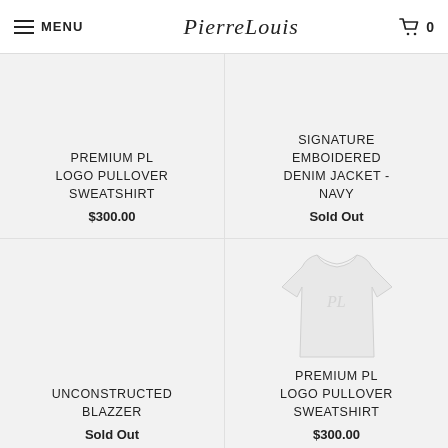MENU | PierreLouis | 0
PREMIUM PL LOGO PULLOVER SWEATSHIRT
$300.00
SIGNATURE EMBOIDERED DENIM JACKET - NAVY
Sold Out
UNCONSTRUCTED BLAZZER
Sold Out
[Figure (photo): Product photo of a white/light colored sweatshirt with PL logo]
PREMIUM PL LOGO PULLOVER SWEATSHIRT
$300.00